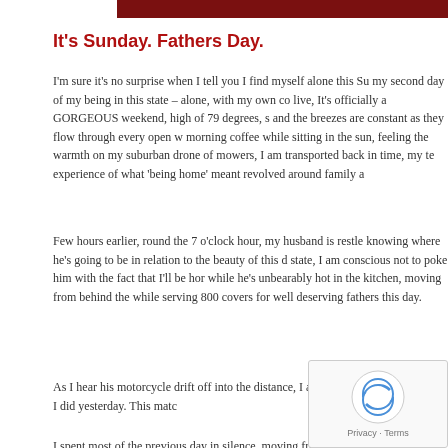[Figure (photo): Dark red/maroon colored image banner at the top of the page]
It's Sunday. Fathers Day.
I'm sure it's no surprise when I tell you I find myself alone this Su my second day of my being in this state – alone, with my own co live, It's officially a GORGEOUS weekend, high of 79 degrees, s and the breezes are constant as they flow through every open w morning coffee while sitting in the sun, feeling the warmth on my suburban drone of mowers, I am transported back in time, my te experience of what 'being home' meant revolved around family a
Few hours earlier, round the 7 o'clock hour, my husband is restle knowing where he's going to be in relation to the beauty of this d state, I am conscious not to poke him with the fact that I'll be hor while he's unbearably hot in the kitchen, moving from behind the while serving 800 covers for well deserving fathers this day.
As I hear his motorcycle drift off into the distance, I a likely play again today, like I did yesterday. This matc
I spent most of the previous day in silence, moving from comfy